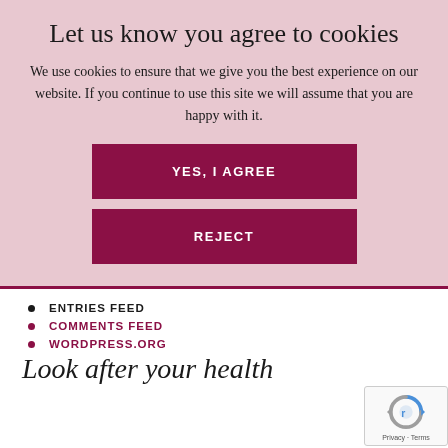Let us know you agree to cookies
We use cookies to ensure that we give you the best experience on our website. If you continue to use this site we will assume that you are happy with it.
[Figure (other): YES, I AGREE button — dark red/maroon rectangle with white bold uppercase text]
[Figure (other): REJECT button — dark red/maroon rectangle with white bold uppercase text]
ENTRIES FEED
COMMENTS FEED
WORDPRESS.ORG
Look after your health
[Figure (other): reCAPTCHA badge with spinning arrows logo and Privacy · Terms text]